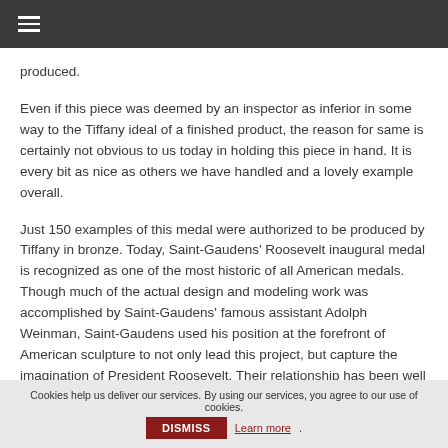≡
produced.
Even if this piece was deemed by an inspector as inferior in some way to the Tiffany ideal of a finished product, the reason for same is certainly not obvious to us today in holding this piece in hand. It is every bit as nice as others we have handled and a lovely example overall.
Just 150 examples of this medal were authorized to be produced by Tiffany in bronze. Today, Saint-Gaudens' Roosevelt inaugural medal is recognized as one of the most historic of all American medals. Though much of the actual design and modeling work was accomplished by Saint-Gaudens' famous assistant Adolph Weinman, Saint-Gaudens used his position at the forefront of American sculpture to not only lead this project, but capture the imagination of President Roosevelt. Their relationship has been well documented and led to the creation of not only Saint-Gaudens' classic double eagle and eagle designs, but the other
Cookies help us deliver our services. By using our services, you agree to our use of cookies. DISMISS Learn more.